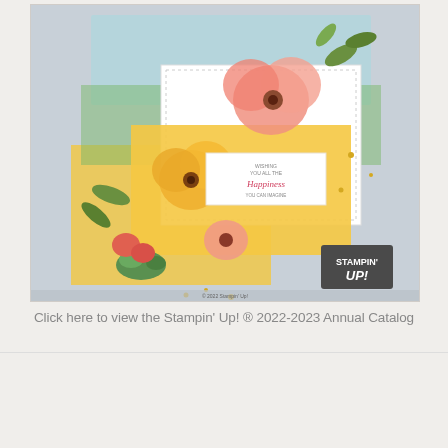[Figure (photo): A Stampin' Up! crafted greeting card featuring watercolor-style floral elements (pink and yellow flowers, green leaves, succulents), layered on a pale blue-gray card base with a yellow panel. A white sentiment panel reads 'wishing you all the happiness you can imagine'. Small gold dots are scattered around. The Stampin' Up! logo appears in the lower right corner.]
Click here to view the Stampin' Up! ® 2022-2023 Annual Catalog
[Figure (photo): Partial view of another Stampin' Up! catalog or card image showing a teal/aqua background with a coral/red decorative banner shape.]